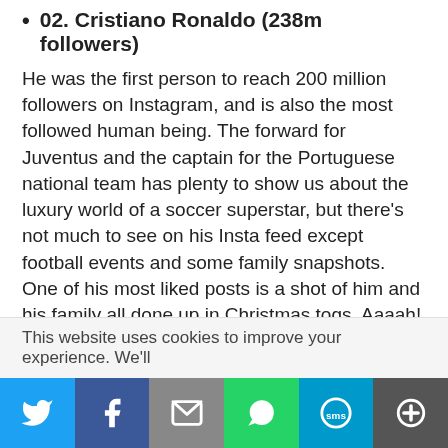02. Cristiano Ronaldo (238m followers)
He was the first person to reach 200 million followers on Instagram, and is also the most followed human being. The forward for Juventus and the captain for the Portuguese national team has plenty to show us about the luxury world of a soccer superstar, but there's not much to see on his Insta feed except football events and some family snapshots. One of his most liked posts is a shot of him and his family all done up in Christmas togs. Aaaah!
See also: Our Top 10 Favourite Celebrity Biopics
01. Instagram (367m followers)
This website uses cookies to improve your experience. We'll